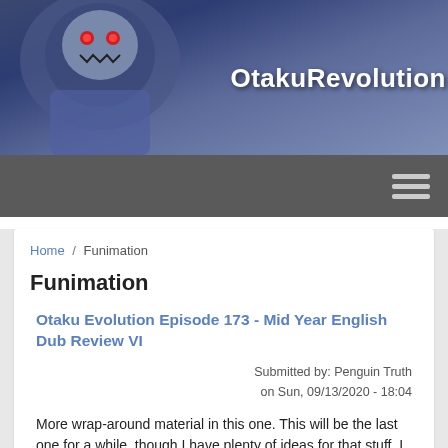[Figure (illustration): Anime-style banner with character illustration on left and 'OtakuRevolution' site name text in white bold font on gradient blue/purple background]
OtakuRevolution
Home / Funimation
Funimation
Otaku Evolution Episode 173 - Mid Year English Dub Review VI
Submitted by: Penguin Truth on Sun, 09/13/2020 - 18:04
More wrap-around material in this one. This will be the last one for a while, though I have plenty of ideas for that stuff. I wanted to do something with Ambassador Morran